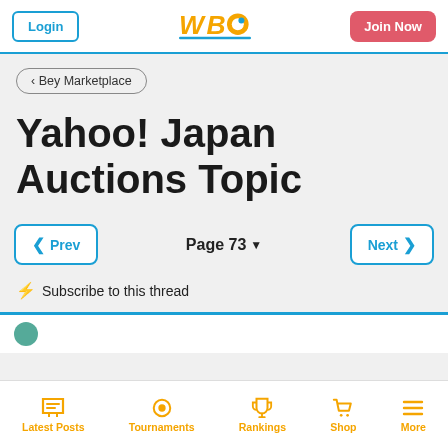WBO header with Login, WBO logo, Join Now
‹ Bey Marketplace
Yahoo! Japan Auctions Topic
Prev | Page 73 ▾ | Next
⚡ Subscribe to this thread
Latest Posts | Tournaments | Rankings | Shop | More